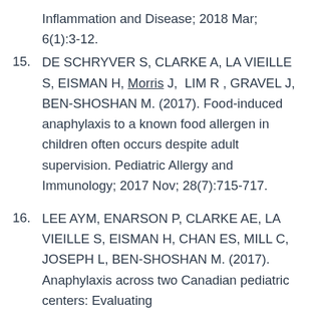Inflammation and Disease; 2018 Mar; 6(1):3-12.
15. DE SCHRYVER S, CLARKE A, LA VIEILLE S, EISMAN H, Morris J, LIM R , GRAVEL J, BEN-SHOSHAN M. (2017). Food-induced anaphylaxis to a known food allergen in children often occurs despite adult supervision. Pediatric Allergy and Immunology; 2017 Nov; 28(7):715-717.
16. LEE AYM, ENARSON P, CLARKE AE, LA VIEILLE S, EISMAN H, CHAN ES, MILL C, JOSEPH L, BEN-SHOSHAN M. (2017). Anaphylaxis across two Canadian pediatric centers: Evaluating